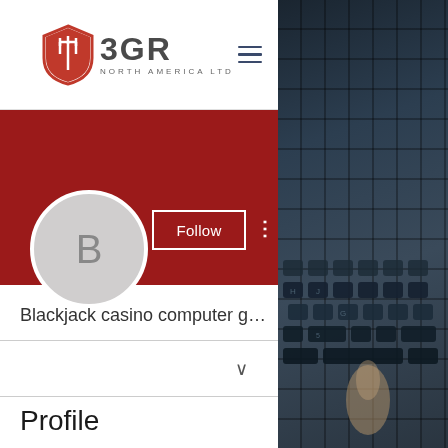[Figure (logo): BGR North America Ltd logo with shield icon containing trident]
[Figure (screenshot): Social media profile page showing red banner, profile avatar with letter B, Follow button, username 'Blackjack casino computer g...' and Profile section heading]
Blackjack casino computer g...
Profile
[Figure (photo): Dark keyboard photo on right side of page]